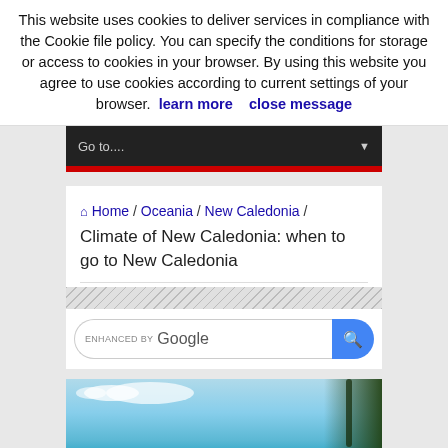This website uses cookies to deliver services in compliance with the Cookie file policy. You can specify the conditions for storage or access to cookies in your browser. By using this website you agree to use cookies according to current settings of your browser. learn more   close message
[Figure (screenshot): Navigation dropdown bar showing 'Go to...' with dark background and red accent stripe]
🏠 Home / Oceania / New Caledonia / Climate of New Caledonia: when to go to New Caledonia
[Figure (screenshot): Search bar with 'ENHANCED BY Google' label and blue search button]
[Figure (photo): Tropical beach scene with turquoise water, blue sky with clouds, small island, and trees on the right side — New Caledonia]